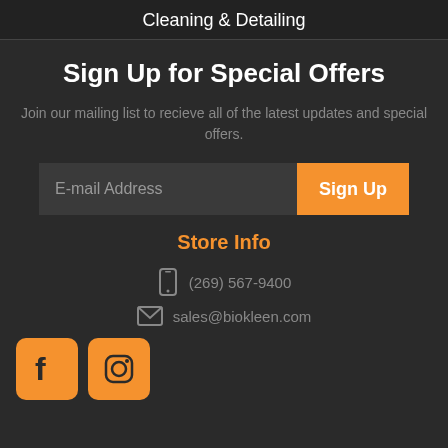Cleaning & Detailing
Sign Up for Special Offers
Join our mailing list to recieve all of the latest updates and special offers.
Store Info
(269) 567-9400
sales@biokleen.com
[Figure (logo): Facebook and Instagram social media icons in orange]